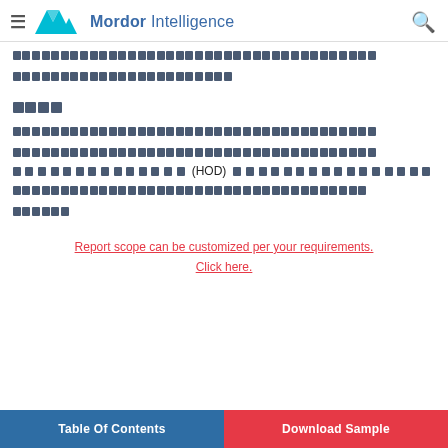Mordor Intelligence
[Redacted content blocks]
[Redacted section label]
[Redacted text paragraphs including (HOD) reference]
Report scope can be customized per your requirements. Click here.
Table Of Contents | Download Sample